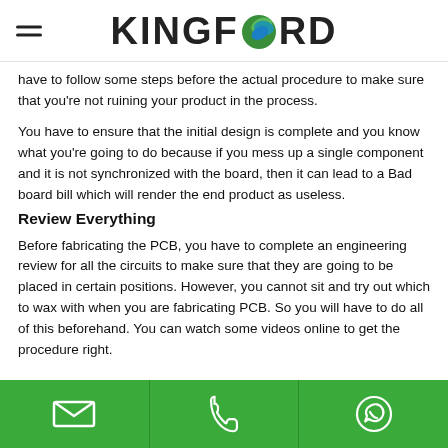KINGFORD
have to follow some steps before the actual procedure to make sure that you're not ruining your product in the process.
You have to ensure that the initial design is complete and you know what you're going to do because if you mess up a single component and it is not synchronized with the board, then it can lead to a Bad board bill which will render the end product as useless.
Review Everything
Before fabricating the PCB, you have to complete an engineering review for all the circuits to make sure that they are going to be placed in certain positions. However, you cannot sit and try out which to wax with when you are fabricating PCB. So you will have to do all of this beforehand. You can watch some videos online to get the procedure right.
email | phone | whatsapp